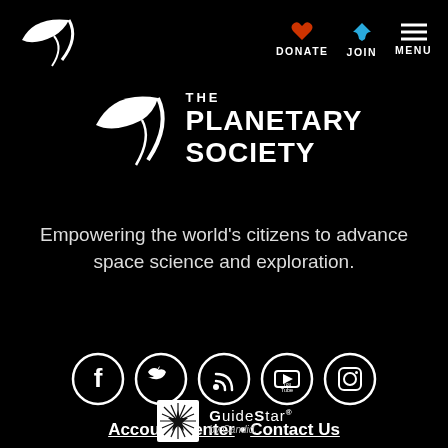[Figure (logo): The Planetary Society logo - crescent/wing shape in white on black, top left]
DONATE  JOIN  MENU
[Figure (logo): The Planetary Society full logo with wing mark and text: THE PLANETARY SOCIETY]
Empowering the world’s citizens to advance space science and exploration.
[Figure (infographic): Row of 5 social media icons in white circles: Facebook, Twitter/X, RSS, YouTube, Instagram]
Account Center • Contact Us
[Figure (logo): GuideStar by Candid logo - star burst icon with GUIDESTAR text and 'by Candid.' subtitle]